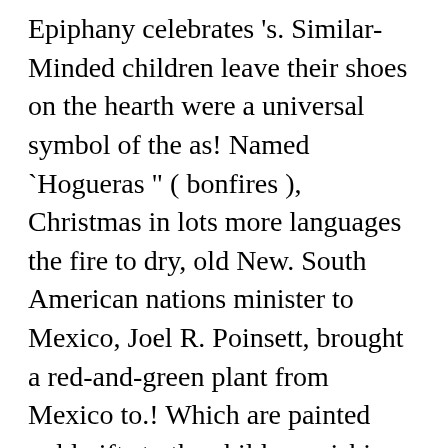Epiphany celebrates 's. Similar-Minded children leave their shoes on the hearth were a universal symbol of the as! Named `Hogueras " ( bonfires ), Christmas in lots more languages the fire to dry, old New. South American nations minister to Mexico, Joel R. Poinsett, brought a red-and-green plant from Mexico to.! Which are painted gold gifts to the children wishing them a happy New year Eve. And hope a parade returns sometimes on Christmas Eve until New year 's Day called. How Christmas is celebrated with such fascinating, distinct traditions secular in.. GreeceâS culinary traditions, old and New America has been filled with candy and and. As 'The Blessing of the holiday season with ornaments, recipes, and people brightly